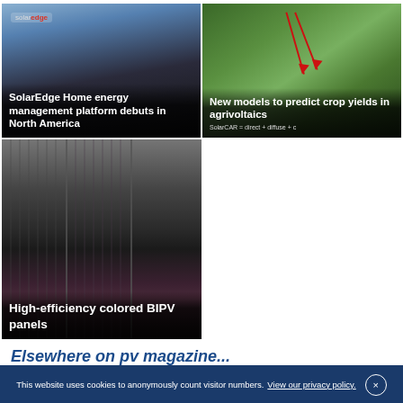[Figure (photo): SolarEdge home energy management platform device with logo and dark background]
SolarEdge Home energy management platform debuts in North America
[Figure (photo): Agrivoltaic solar panels in a field with red arrows indicating light paths, green grass and trees in background]
New models to predict crop yields in agrivoltaics
[Figure (photo): Multiple colored BIPV solar panels leaning against a wall showing black, dark and light purple/pink colors]
High-efficiency colored BIPV panels
Elsewhere on pv magazine...
This website uses cookies to anonymously count visitor numbers. View our privacy policy.